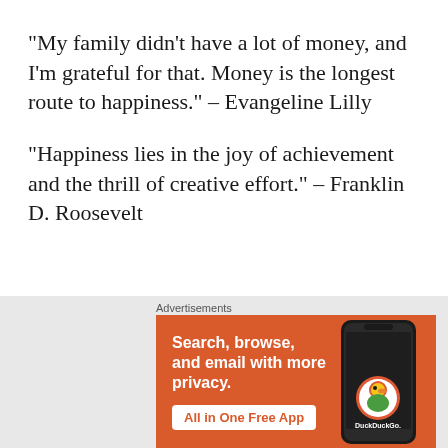“My family didn’t have a lot of money, and I’m grateful for that. Money is the longest route to happiness.” – Evangeline Lilly
“Happiness lies in the joy of achievement and the thrill of creative effort.” – Franklin D. Roosevelt
[Figure (screenshot): DuckDuckGo advertisement banner with orange background showing text 'Search, browse, and email with more privacy. All in One Free App' with phone image and DuckDuckGo logo]